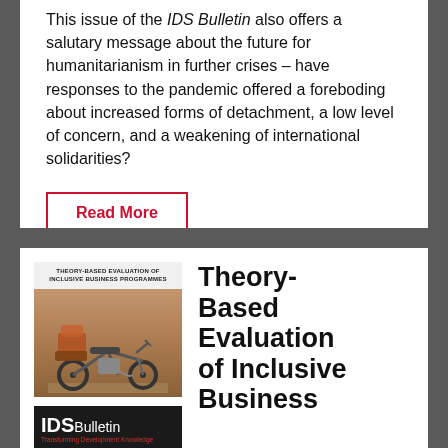This issue of the IDS Bulletin also offers a salutary message about the future for humanitarianism in further crises – have responses to the pandemic offered a foreboding about increased forms of detachment, a low level of concern, and a weakening of international solidarities?
Read More
[Figure (illustration): Cover of IDS Bulletin issue titled Theory-Based Evaluation of Inclusive Business Programmes, showing a motorcycle loaded with goods on a sandy background, with the IDS Bulletin logo at the bottom.]
Theory-Based Evaluation of Inclusive Business